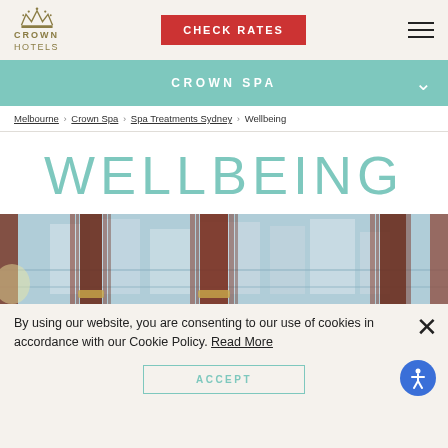Crown Hotels | CHECK RATES
CROWN SPA
Melbourne › Crown Spa › Spa Treatments Sydney › Wellbeing
WELLBEING
[Figure (photo): Interior hotel spa room with dark wooden vertical slat columns, red/brown drapes, and large windows showing a city skyline]
By using our website, you are consenting to our use of cookies in accordance with our Cookie Policy. Read More
ACCEPT